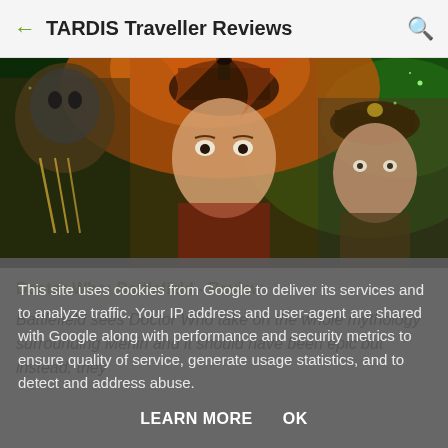TARDIS Traveller Reviews
[Figure (photo): Doctor Who Battlefield promotional image showing three characters: an alien warrior in armor on the left, a woman in a hat with an ornate crown at center, and a military officer on the right, set against a fiery and cosmic green background]
Doctor Who: Battlefield - Review
Battlefield sees Doctor Who take on the whole mythology surrounding Merlin and it should have been epic but instead, they
This site uses cookies from Google to deliver its services and to analyze traffic. Your IP address and user-agent are shared with Google along with performance and security metrics to ensure quality of service, generate usage statistics, and to detect and address abuse.
LEARN MORE    OK